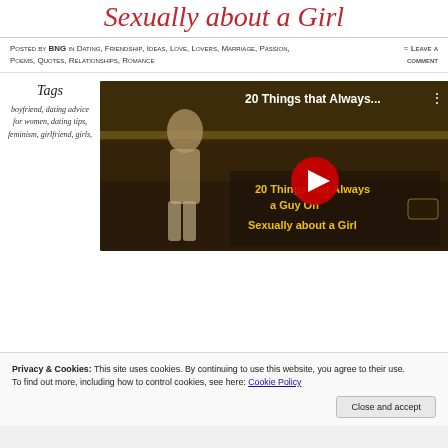Sexually about a Girl
Posted by BNG in Dating, Friendship, Ideas, Love, Lovers, Marriage, Passion, Poems, Quotes, Relationships, Romance
≈ Leave a comment
Tags
boyfriend, dating advice for women, dating tips, feminism, girlfriend, girls,
[Figure (screenshot): YouTube video thumbnail showing '20 Things that Always... a Guy On Sexually about a Girl' with a play button overlay and a female figure.]
Privacy & Cookies: This site uses cookies. By continuing to use this website, you agree to their use.
To find out more, including how to control cookies, see here: Cookie Policy
Close and accept